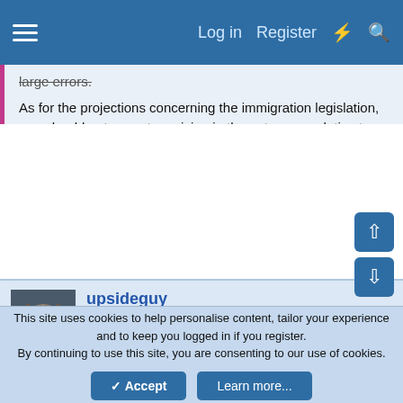Log in  Register
large errors.
As for the projections concerning the immigration legislation, one should not expect precision in the outcomes relative to the projections. However, there is reason for at least a degree of confidence in the direction of the change e.g., some reduction in long-term debt relative to current law, because that's what happened following the 1986 immigration reform from changes in legalized immigrants' income, which boosted tax revenue growth. Some structural changes that have occurred since that time might argue for a somewhat more muted response this time around over the long-term.
upsideguy
Pragmatic Idealist  DP Veteran
This site uses cookies to help personalise content, tailor your experience and to keep you logged in if you register.
By continuing to use this site, you are consenting to our use of cookies.